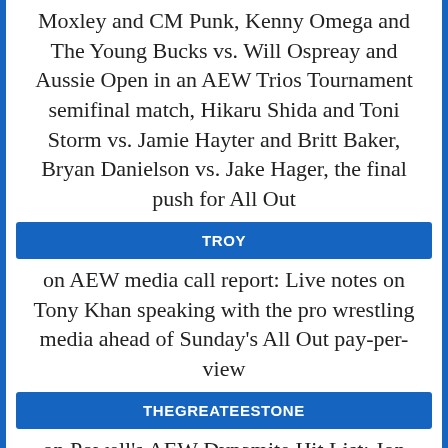Moxley and CM Punk, Kenny Omega and The Young Bucks vs. Will Ospreay and Aussie Open in an AEW Trios Tournament semifinal match, Hikaru Shida and Toni Storm vs. Jamie Hayter and Britt Baker, Bryan Danielson vs. Jake Hager, the final push for All Out
TROY
on AEW media call report: Live notes on Tony Khan speaking with the pro wrestling media ahead of Sunday’s All Out pay-per-view
THEGREATEESTONE
on Powell’s AEW Dynamite Hit List: Jon Moxley and CM Punk, Kenny Omega and The Young Bucks vs. Will Ospreay and Aussie Open in an AEW Trios Tournament semifinal match, Hikaru Shida and Toni